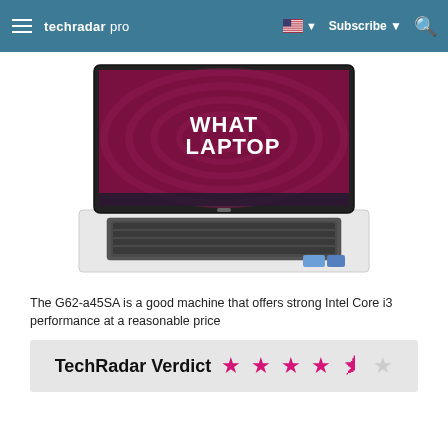techradar pro | Subscribe | Search
[Figure (photo): HP G62-a45SA laptop open showing a screen with 'WHAT LAPTOP' branding on a dark red swirl background, white laptop body with dark keyboard]
The G62-a45SA is a good machine that offers strong Intel Core i3 performance at a reasonable price
TechRadar Verdict ★★★★½☆ (4.5 out of 5 stars)